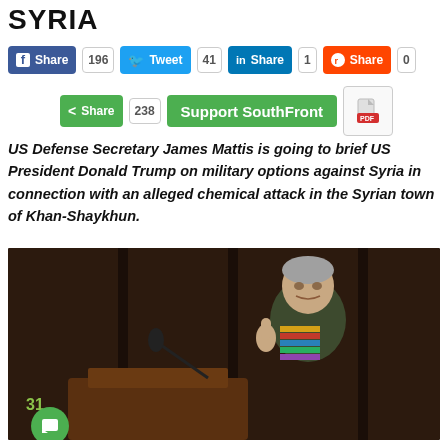SYRIA
[Figure (infographic): Social media share buttons row: Facebook Share 196, Twitter Tweet 41, LinkedIn Share 1, Reddit Share 0]
[Figure (infographic): Second share row: Share 238, Support SouthFront button, PDF icon]
US Defense Secretary James Mattis is going to brief US President Donald Trump on military options against Syria in connection with an alleged chemical attack in the Syrian town of Khan-Shaykhun.
[Figure (photo): Photo of a military officer in uniform speaking at a podium, raising one finger, with military ribbons and medals on his chest. Dark wood paneled background.]